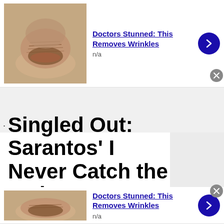[Figure (screenshot): Top ad banner: thumbnail image of aged skin/lips area, ad title 'Doctors Stunned: This Removes Wrinkles', subtitle 'n/a', blue arrow button, grey close button]
.
adv
Singled Out: Sarantos' I Never Catch the Train
[Figure (screenshot): Bottom ad banner: thumbnail image of aged skin/lips area, ad title 'Doctors Stunned: This Removes Wrinkles', subtitle 'n/a', blue arrow button, grey close button]